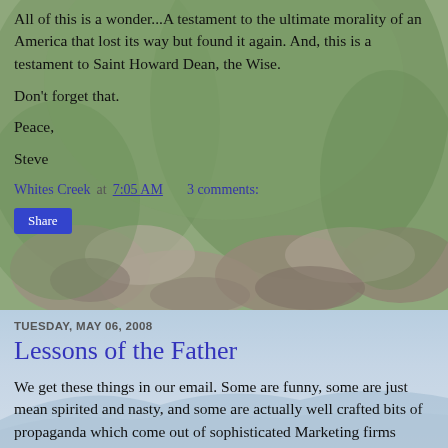All of this is a wonder...A testament to the ultimate morality of an America that lost its way but found it again. And, this is a testament to Saint Howard Dean, the Wise.
Don't forget that.
Peace,
Steve
Whites Creek at 7:05 AM   3 comments:
Share
TUESDAY, MAY 06, 2008
Lessons of the Father
We get these things in our email. Some are funny, some are just mean spirited and nasty, and some are actually well crafted bits of propaganda which come out of sophisticated Marketing firms which are paid handsomely to produce them,